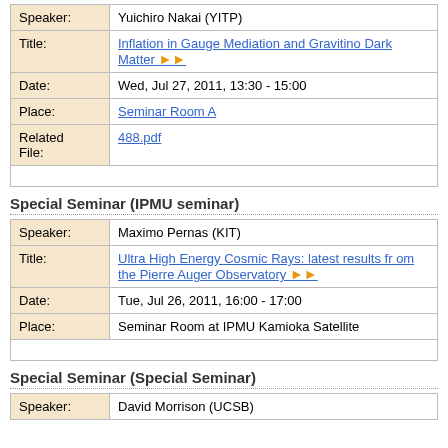| Label | Value |
| --- | --- |
| Speaker: | Yuichiro Nakai (YITP) |
| Title: | Inflation in Gauge Mediation and Gravitino Dark Matter ▶▶ |
| Date: | Wed, Jul 27, 2011, 13:30 - 15:00 |
| Place: | Seminar Room A |
| Related File: | 488.pdf |
Special Seminar (IPMU seminar)
| Label | Value |
| --- | --- |
| Speaker: | Maximo Pernas (KIT) |
| Title: | Ultra High Energy Cosmic Rays: latest results from the Pierre Auger Observatory ▶▶ |
| Date: | Tue, Jul 26, 2011, 16:00 - 17:00 |
| Place: | Seminar Room at IPMU Kamioka Satellite |
Special Seminar (Special Seminar)
| Label | Value |
| --- | --- |
| Speaker: | David Morrison (UCSB) |